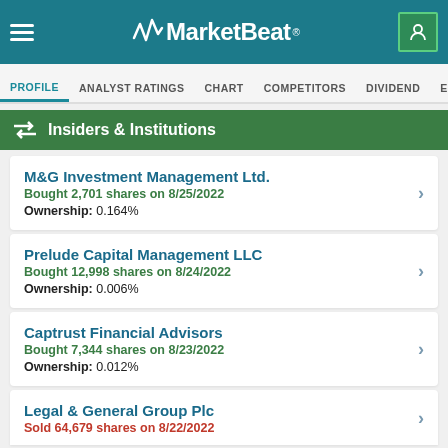MarketBeat
PROFILE | ANALYST RATINGS | CHART | COMPETITORS | DIVIDEND | EARNINGS
Insiders & Institutions
M&G Investment Management Ltd.
Bought 2,701 shares on 8/25/2022
Ownership: 0.164%
Prelude Capital Management LLC
Bought 12,998 shares on 8/24/2022
Ownership: 0.006%
Captrust Financial Advisors
Bought 7,344 shares on 8/23/2022
Ownership: 0.012%
Legal & General Group Plc
Sold 64,679 shares on 8/22/2022